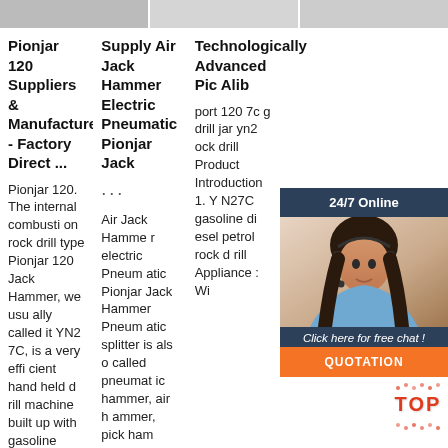[Figure (photo): Top image strip showing partial product/person images across three columns]
Pionjar 120 Suppliers & Manufacturers - Factory Direct ...
Pionjar 120. The internal combustion rock drill type Pionjar 120 Jack Hammer, we usually called it YN27C, is a very efficient hand held drill machine built up with gasoline
Supply Air Jack Hammer Electric Pneumatic Pionjar Jack
···
Air Jack Hammer electric Pneumatic Pionjar Jack Hammer Pneumatic splitter is also called pneumatic hammer, air hammer, pick ham
Technologically Advanced Pionjar Alibaba
portable 120 7c gasoline drill pionjar yn27c gasoline rock drill Product Introduction 1. YN27C gasoline diesel petrol rock drill Appliance : Wi
[Figure (photo): 24/7 Online chat widget with customer service representative photo, 'Click here for free chat!' text, and orange QUOTATION button]
[Figure (logo): TOP badge in red/orange with decorative dots around it]